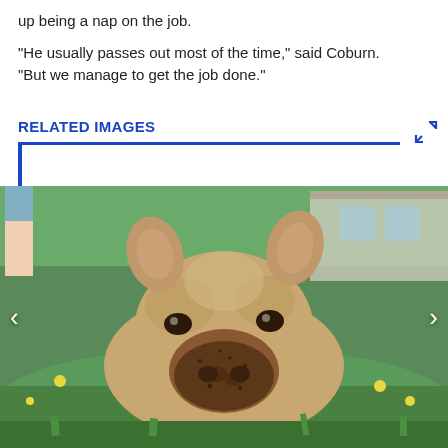up being a nap on the job.
"He usually passes out most of the time," said Coburn. "But we manage to get the job done."
RELATED IMAGES
[Figure (photo): Close-up photo of a young pig with a muddy snout standing in green grass with yellow dandelion flowers. The pig has light brownish fur with darker markings. A person's legs in shorts are visible in the background along with a building.]